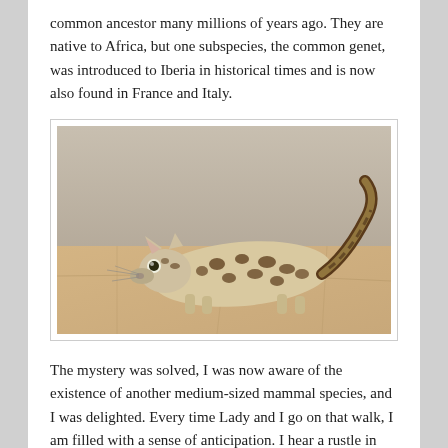common ancestor many millions of years ago. They are native to Africa, but one subspecies, the common genet, was introduced to Iberia in historical times and is now also found in France and Italy.
[Figure (photo): A genet (small spotted wild cat-like animal) photographed on a sandy/stone surface. The animal has large eyes, spotted coat, and a long striped tail curled upward.]
The mystery was solved, I was now aware of the existence of another medium-sized mammal species, and I was delighted. Every time Lady and I go on that walk, I am filled with a sense of anticipation. I hear a rustle in the undergrowth, disturb a locust resting on a rock, delight in butterflies flitting from shrub to shrub. My heart lifts at the plop-plop of frogs leaping into the pools, at the families of